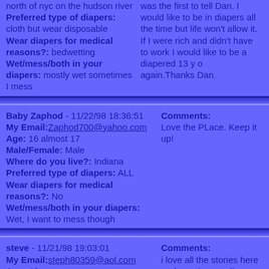north of nyc on the hudson river
Preferred type of diapers: cloth but wear disposable
Wear diapers for medical reasons?: bedwetting
Wet/mess/both in your diapers: mostly wet sometimes I mess
was the first to tell Dan. I would like to be in diapers all the time but life won't allow it. If I were rich and didn't have to work I would like to be a diapered 13 y o again.Thanks Dan.
Baby Zaphod - 11/22/98 18:36:51
My Email: Zaphod700@yahoo.com
Age: 16 almost 17
Male/Female: Male
Where do you live?: Indiana
Preferred type of diapers: ALL
Wear diapers for medical reasons?: No
Wet/mess/both in your diapers: Wet, I want to mess though
Comments:
Love the PLace. Keep it up!
steve - 11/21/98 19:03:01
My Email: steph80359@aol.com
Age: 46
Comments:
i love all the stories here and wearing my diapers